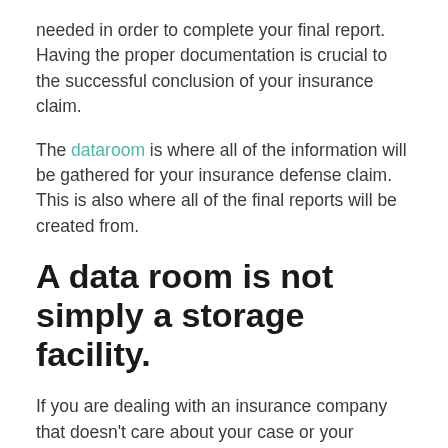needed in order to complete your final report. Having the proper documentation is crucial to the successful conclusion of your insurance claim.
The dataroom is where all of the information will be gathered for your insurance defense claim. This is also where all of the final reports will be created from.
A data room is not simply a storage facility.
If you are dealing with an insurance company that doesn't care about your case or your injuries, they won't want you to see the data room. To ensure that you receive unbiased and accurate information, you should hire an attorney with experience in these situations.